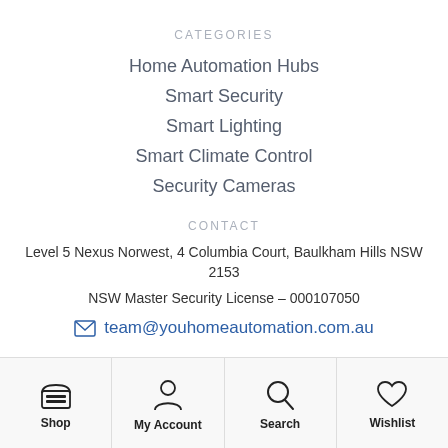CATEGORIES
Home Automation Hubs
Smart Security
Smart Lighting
Smart Climate Control
Security Cameras
CONTACT
Level 5 Nexus Norwest, 4 Columbia Court, Baulkham Hills NSW 2153
NSW Master Security License – 000107050
team@youhomeautomation.com.au
Shop | My Account | Search | Wishlist